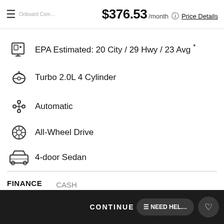Onboard Communication... $376.53 /month Price Details
EPA Estimated: 20 City / 29 Hwy / 23 Avg *
Turbo 2.0L 4 Cylinder
Automatic
All-Wheel Drive
4-door Sedan
FINANCE   CASH
$376.53* /month   Price Details
incl. taxes & fees, on appl...
Mileage: 79,640
CONTINUE   NEED HELP